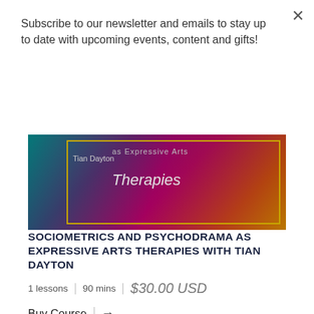Subscribe to our newsletter and emails to stay up to date with upcoming events, content and gifts!
Subscribe
[Figure (photo): Colorful abstract background image with text 'Tian Dayton' and 'Therapies' overlaid, with a golden rectangular border]
SOCIOMETRICS AND PSYCHODRAMA AS EXPRESSIVE ARTS THERAPIES WITH TIAN DAYTON
1 lessons | 90 mins | $30.00 USD
Buy Course →